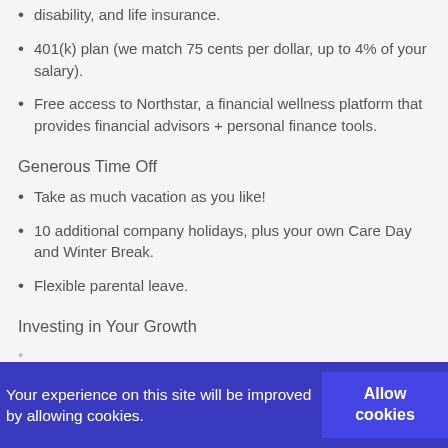disability, and life insurance.
401(k) plan (we match 75 cents per dollar, up to 4% of your salary).
Free access to Northstar, a financial wellness platform that provides financial advisors + personal finance tools.
Generous Time Off
Take as much vacation as you like!
10 additional company holidays, plus your own Care Day and Winter Break.
Flexible parental leave.
Investing in Your Growth
Your experience on this site will be improved by allowing cookies.  Allow cookies